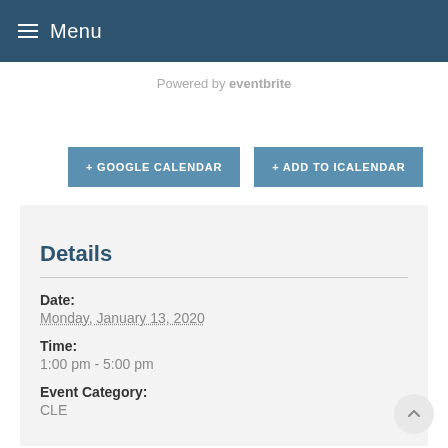≡ Menu
Powered by eventbrite
+ GOOGLE CALENDAR
+ ADD TO ICALENDAR
Details
Date:
Monday, January 13, 2020
Time:
1:00 pm - 5:00 pm
Event Category:
CLE